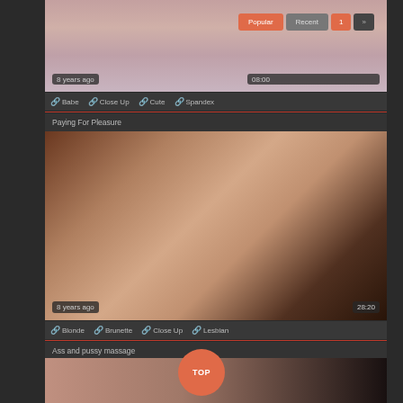[Figure (photo): Partial view of a person in light purple clothing, zoomed close-up]
8 years ago
08:00
Popular   Recent   1   »
🔗 Babe   🔗 Close Up   🔗 Cute   🔗 Spandex
Paying For Pleasure
[Figure (photo): Two women on a bed, one lying down and one leaning over, dimly lit room]
8 years ago
28:20
🔗 Blonde   🔗 Brunette   🔗 Close Up   🔗 Lesbian
Ass and pussy massage
[Figure (photo): Close-up of skin, partial body shot]
TOP